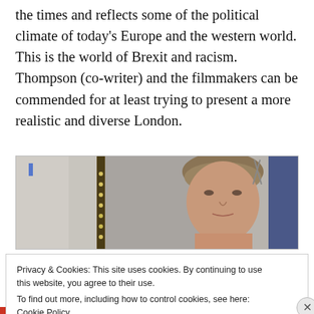the times and reflects some of the political climate of today's Europe and the western world. This is the world of Brexit and racism. Thompson (co-writer) and the filmmakers can be commended for at least trying to present a more realistic and diverse London.
[Figure (photo): A woman (appears to be middle-aged, short hair) in what looks like a room with a mirror frame and blue wall in the background.]
Privacy & Cookies: This site uses cookies. By continuing to use this website, you agree to their use.
To find out more, including how to control cookies, see here: Cookie Policy
Close and accept